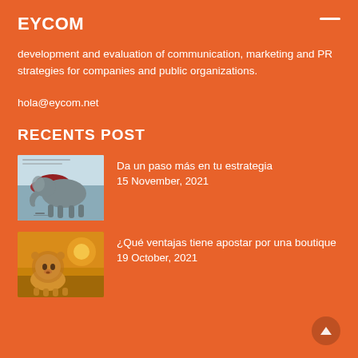EYCOM
development and evaluation of communication, marketing and PR strategies for companies and public organizations.
hola@eycom.net
RECENTS POST
[Figure (photo): Thumbnail image showing an elephant in a blue/grey painted artistic scene with red splashes]
Da un paso más en tu estrategia
15 November, 2021
[Figure (photo): Thumbnail image showing a lion cub in a warm orange/golden desert scene]
¿Qué ventajas tiene apostar por una boutique
19 October, 2021